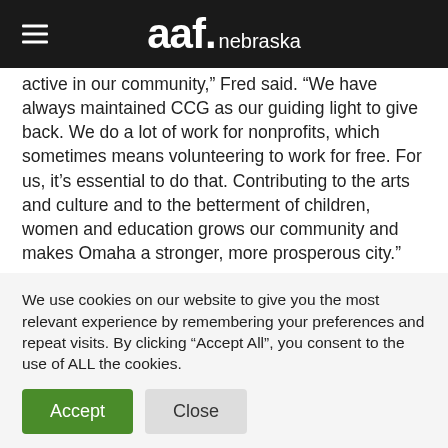aaf. nebraska
active in our community,” Fred said. “We have always maintained CCG as our guiding light to give back. We do a lot of work for nonprofits, which sometimes means volunteering to work for free. For us, it’s essential to do that. Contributing to the arts and culture and to the betterment of children, women and education grows our community and makes Omaha a stronger, more prosperous city.”
We use cookies on our website to give you the most relevant experience by remembering your preferences and repeat visits. By clicking “Accept All”, you consent to the use of ALL the cookies.